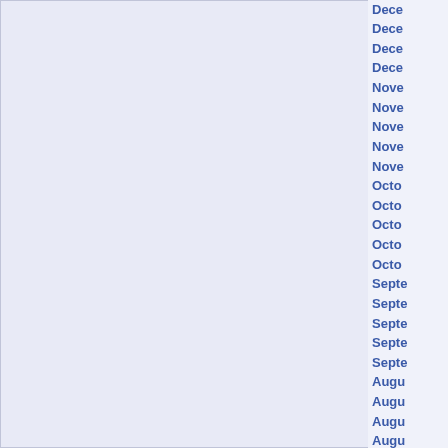Dece…
Dece…
Dece…
Dece…
Nove…
Nove…
Nove…
Nove…
Nove…
Octo…
Octo…
Octo…
Octo…
Octo…
Septe…
Septe…
Septe…
Septe…
Septe…
Augu…
Augu…
Augu…
Augu…
Augu…
July 2…
July 2…
July 2…
July 2…
July 2…
June…
June…
June…
June…